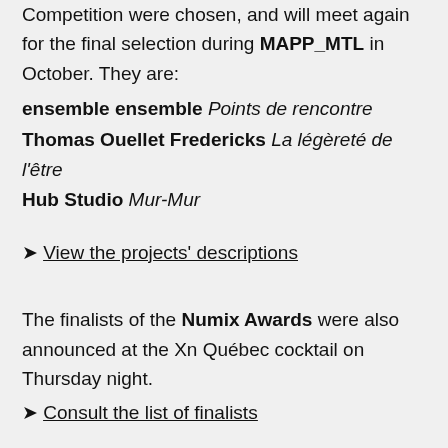Competition were chosen, and will meet again for the final selection during MAPP_MTL in October. They are:
ensemble ensemble Points de rencontre
Thomas Ouellet Fredericks La légèreté de l'être
Hub Studio Mur-Mur
➤ View the projects' descriptions
The finalists of the Numix Awards were also announced at the Xn Québec cocktail on Thursday night.
➤ Consult the list of finalists
To close the event, the Digital Committee of Culture